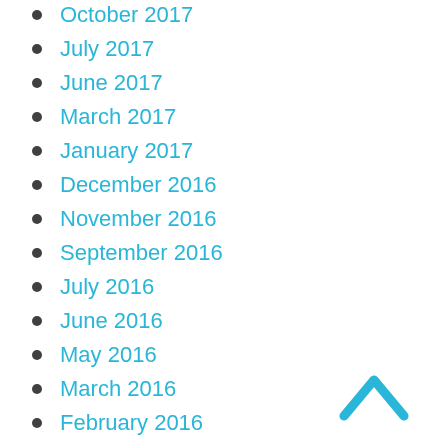October 2017
July 2017
June 2017
March 2017
January 2017
December 2016
November 2016
September 2016
July 2016
June 2016
May 2016
March 2016
February 2016
January 2016